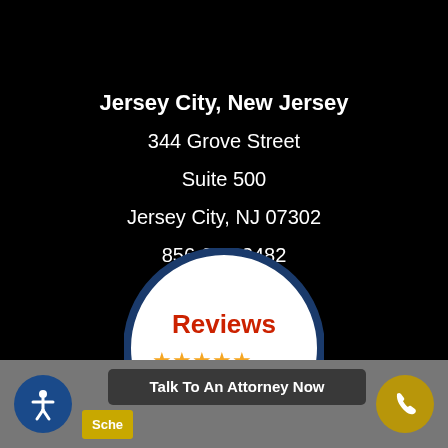Jersey City, New Jersey
344 Grove Street
Suite 500
Jersey City, NJ 07302
856-832-2482
[Figure (logo): Reviews badge: circular white badge with dark navy border showing 'Reviews' in red text and gold stars along the bottom edge, partially visible at bottom of black area]
Accessibility icon | Sche... | Talk To An Attorney Now | Phone icon